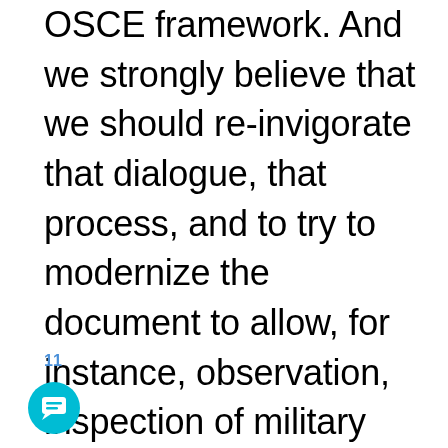OSCE framework. And we strongly believe that we should re-invigorate that dialogue, that process, and to try to modernize the document to allow, for instance, observation, inspection of military exercises, and also to address a loophole in the existing agreements where snap exercises had not allowed for any kind of inspection. So this is partly about adhering to existing agreements and partly modernizing developing and
11